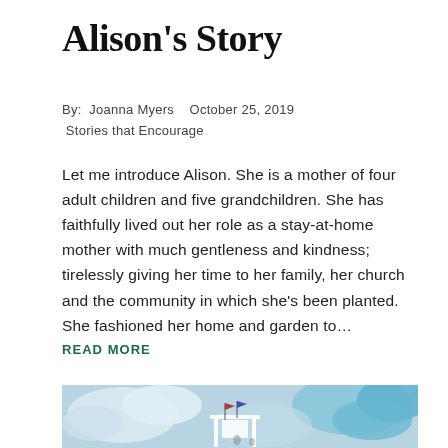Alison's Story
By:  Joanna Myers    October 25, 2019
Stories that Encourage
Let me introduce Alison. She is a mother of four adult children and five grandchildren. She has faithfully lived out her role as a stay-at-home mother with much gentleness and kindness; tirelessly giving her time to her family, her church and the community in which she's been planted. She fashioned her home and garden to…
READ MORE
[Figure (photo): Outdoor photo showing flags on a white structure against a blue sky with clouds]